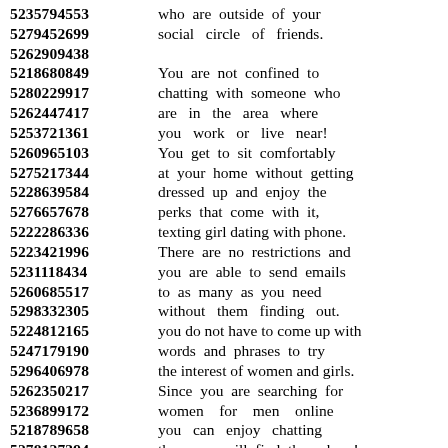5235794553 who are outside of your
5279452699 social circle of friends.
5262909438
5218680849 You are not confined to
5280229917 chatting with someone who
5262447417 are in the area where
5253721361 you work or live near!
5260965103 You get to sit comfortably
5275217344 at your home without getting
5228639584 dressed up and enjoy the
5276657678 perks that come with it,
5222286336 texting girl dating with phone.
5223421996 There are no restrictions and
5231118434 you are able to send emails
5260685517 to as many as you need
5298332305 without them finding out.
5224812165 you do not have to come up with
5247179190 words and phrases to try
5296406978 the interest of women and girls.
5262350217 Since you are searching for
5236899172 women for men online
5218789658 you can enjoy chatting
5278127394 then you will find them here!
5280655495 The site must be protected,
5220631860 the people must be real,